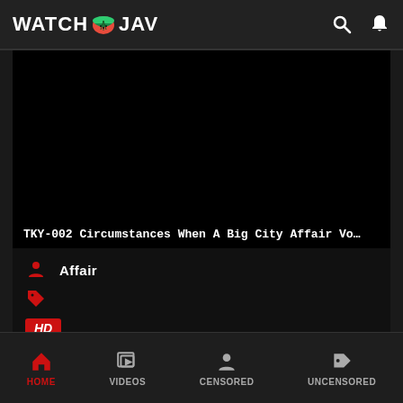WATCH🍉JAV
[Figure (screenshot): Black video thumbnail area showing dark content]
TKY-002 Circumstances When A Big City Affair Vo…
Affair
HD
HOME  VIDEOS  CENSORED  UNCENSORED